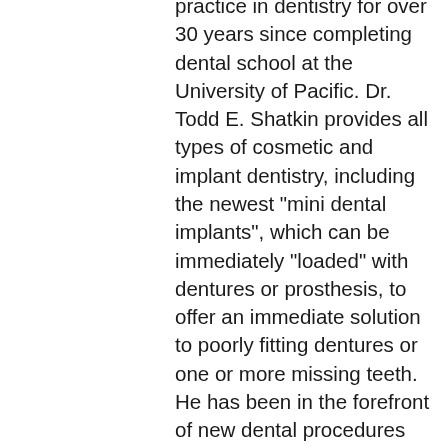practice in dentistry for over 30 years since completing dental school at the University of Pacific. Dr. Todd E. Shatkin provides all types of cosmetic and implant dentistry, including the newest "mini dental implants", which can be immediately "loaded" with dentures or prosthesis, to offer an immediate solution to poorly fitting dentures or one or more missing teeth. He has been in the forefront of new dental procedures and is an expert in Dental Bleaching, and is the developer of tooth whitening products throughout the dental industry. Todd E. Shatkin, DDS, FADI, FICD, FIADL, DIAAPI, has been a